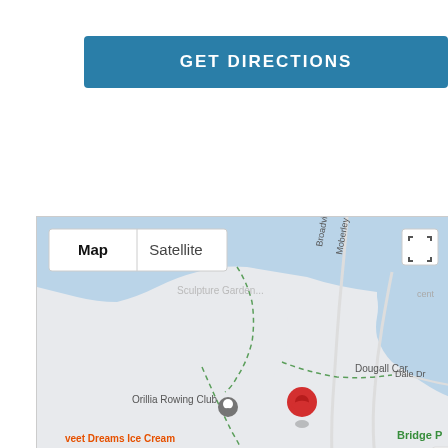GET DIRECTIONS
[Figure (map): Google map showing Orillia area with a red location pin near Bayside, showing landmarks including Orillia Rowing Club, Sweet Dreams Ice Cream, Ludhope Park, GRUB SPOT, Best Western Plus, Bayside, Dougall Camp, Bridge P, Kawartha area. Roads include Broadview Ave, Moberley Ave, Dale Dr, Bayview Pkwy, Route 12. Map/Satellite toggle buttons visible at top left.]